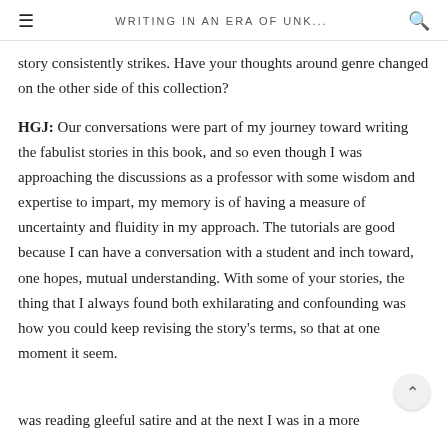WRITING IN AN ERA OF UNK...
story consistently strikes. Have your thoughts around genre changed on the other side of this collection?
HGJ: Our conversations were part of my journey toward writing the fabulist stories in this book, and so even though I was approaching the discussions as a professor with some wisdom and expertise to impart, my memory is of having a measure of uncertainty and fluidity in my approach. The tutorials are good because I can have a conversation with a student and inch toward, one hopes, mutual understanding. With some of your stories, the thing that I always found both exhilarating and confounding was how you could keep revising the story's terms, so that at one moment it seem. was reading gleeful satire and at the next I was in a more